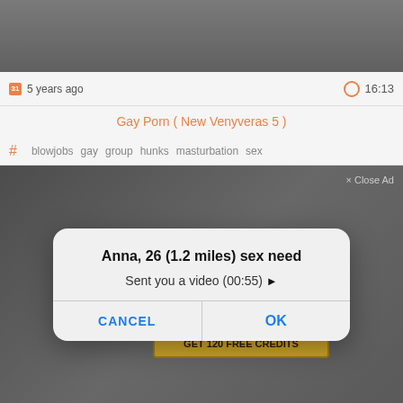[Figure (screenshot): Screenshot of an adult video website showing a video thumbnail, metadata bar with '5 years ago' and duration '16:13', video title in orange, tags, and a background video/ad. A modal dialog overlay is displayed with title 'Anna, 26 (1.2 miles) sex need', message 'Sent you a video (00:55) ▶', and CANCEL/OK buttons. Background ad shows 'BE HER SUGAR DADDY' and 'GET 120 FREE CREDITS' button.]